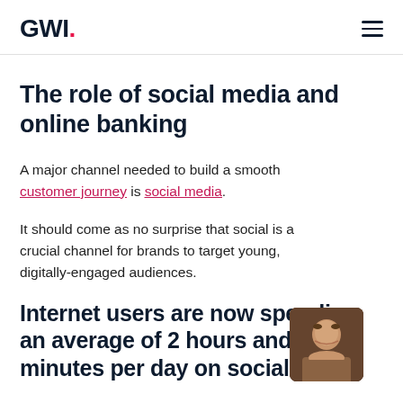GWI.
The role of social media and online banking
A major channel needed to build a smooth customer journey is social media.
It should come as no surprise that social is a crucial channel for brands to target young, digitally-engaged audiences.
Internet users are now spending an average of 2 hours and 24 minutes per day on social
[Figure (photo): Headshot photo of a person in front of a wooden/dark background, positioned bottom-right corner]